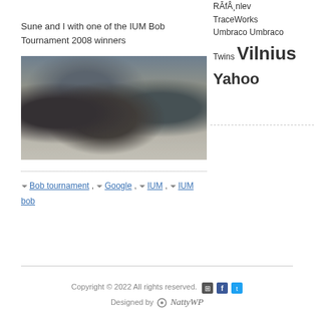Sune and I with one of the IUM Bob Tournament 2008 winners
[Figure (photo): Blurry close-up selfie photo of three men smiling, appears to be taken at an event]
Bob tournament , Google , IUM , IUM bob
RĀfÂ¸nlev
TraceWorks
Umbraco Umbraco Twins Vilnius
Yahoo
Copyright © 2022 All rights reserved. Designed by NattyWP